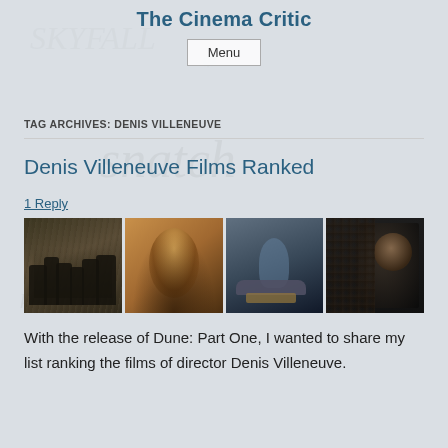The Cinema Critic
Menu
TAG ARCHIVES: DENIS VILLENEUVE
Denis Villeneuve Films Ranked
1 Reply
[Figure (photo): A collage of four movie poster/still images from Denis Villeneuve films including Dune, Blade Runner, and Prisoners/Enemy]
With the release of Dune: Part One, I wanted to share my list ranking the films of director Denis Villeneuve.